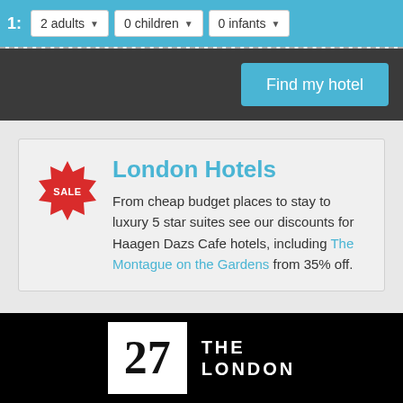1:  2 adults ▼  0 children ▼  0 infants ▼
Find my hotel
London Hotels
From cheap budget places to stay to luxury 5 star suites see our discounts for Haagen Dazs Cafe hotels, including The Montague on the Gardens from 35% off.
[Figure (logo): Number 27 logo with 'THE LONDON' text on black background]